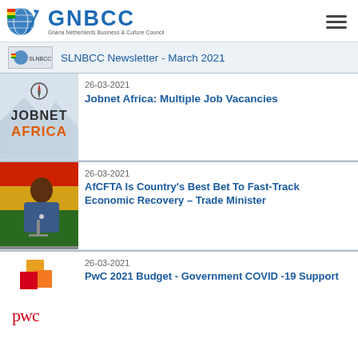GNBCC - Ghana Netherlands Business & Culture Council
SLNBCC Newsletter - March 2021
[Figure (photo): Jobnet Africa logo with stylized compass/arrow icon, dark text JOBNET and orange text AFRICA on misty mountain background]
26-03-2021
Jobnet Africa: Multiple Job Vacancies
[Figure (photo): Photo of a man in patterned shirt speaking at a podium with Ghana flag visible in background]
26-03-2021
AfCFTA Is Country's Best Bet To Fast-Track Economic Recovery – Trade Minister
[Figure (logo): PwC logo with colorful stacked orange/red/yellow squares and lowercase red pwc text]
26-03-2021
PwC 2021 Budget - Government COVID -19 Support